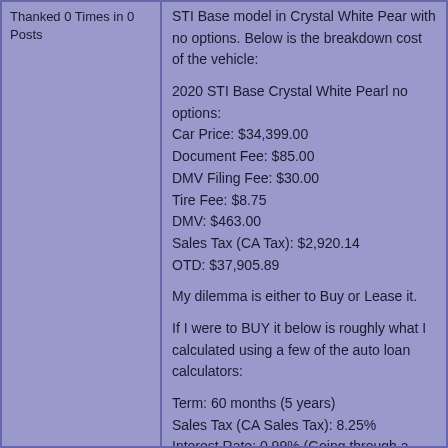Thanked 0 Times in 0 Posts
STI Base model in Crystal White Pear with no options. Below is the breakdown cost of the vehicle:

2020 STI Base Crystal White Pearl no options:
Car Price: $34,399.00
Document Fee: $85.00
DMV Filing Fee: $30.00
Tire Fee: $8.75
DMV: $463.00
Sales Tax (CA Tax): $2,920.14
OTD: $37,905.89

My dilemma is either to Buy or Lease it.

If I were to BUY it below is roughly what I calculated using a few of the auto loan calculators:

Term: 60 months (5 years)
Sales Tax (CA Sales Tax): 8.25%
Interest Rate: 0.99% (Going through a local credit union that I have a savings account already with them)
Down Payment: $20,000
Monthly Payment: $246.00 - $295.00

As for LEASING below is the information that I got from the dealership: